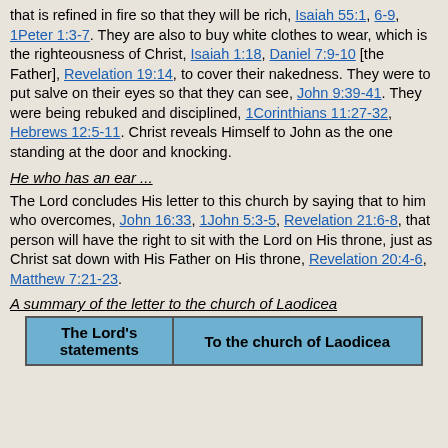that is refined in fire so that they will be rich, Isaiah 55:1, 6-9, 1Peter 1:3-7. They are also to buy white clothes to wear, which is the righteousness of Christ, Isaiah 1:18, Daniel 7:9-10 [the Father], Revelation 19:14, to cover their nakedness. They were to put salve on their eyes so that they can see, John 9:39-41. They were being rebuked and disciplined, 1Corinthians 11:27-32, Hebrews 12:5-11. Christ reveals Himself to John as the one standing at the door and knocking.
He who has an ear ...
The Lord concludes His letter to this church by saying that to him who overcomes, John 16:33, 1John 5:3-5, Revelation 21:6-8, that person will have the right to sit with the Lord on His throne, just as Christ sat down with His Father on His throne, Revelation 20:4-6, Matthew 7:21-23.
A summary of the letter to the church of Laodicea
| The Lord's statements | To the church of Laodicea |
| --- | --- |